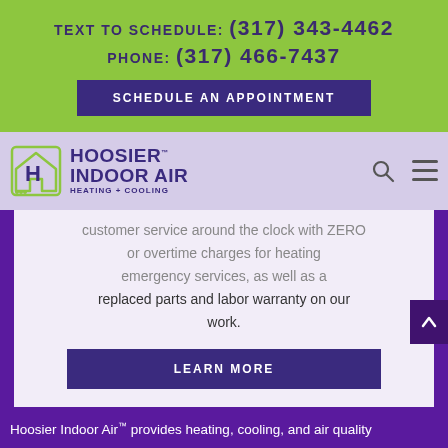TEXT TO SCHEDULE: (317) 343-4462
PHONE: (317) 466-7437
SCHEDULE AN APPOINTMENT
[Figure (logo): Hoosier Indoor Air Heating + Cooling logo with house icon]
customer service around the clock with ZERO or overtime charges for heating emergency services, as well as a replaced parts and labor warranty on our work.
LEARN MORE
Hoosier Indoor Air™ provides heating, cooling, and air quality